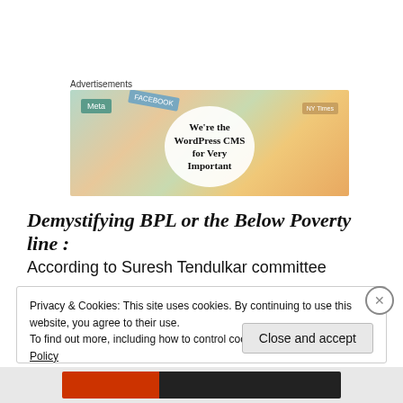Advertisements
[Figure (illustration): Advertisement banner showing various media brand cards/tiles (Meta, Facebook, NY Times, etc.) with a white circle in the center containing the text: We're the WordPress CMS for Very Important]
Demystifying BPL or the Below Poverty line :
According to Suresh Tendulkar committee
Privacy & Cookies: This site uses cookies. By continuing to use this website, you agree to their use.
To find out more, including how to control cookies, see here: Cookie Policy
Close and accept